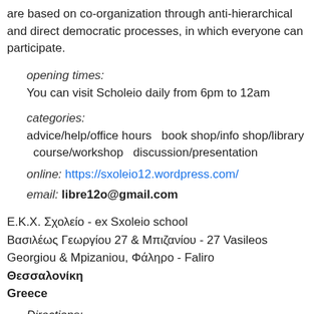are based on co-organization through anti-hierarchical and direct democratic processes, in which everyone can participate.
opening times:
You can visit Scholeio daily from 6pm to 12am
categories:
advice/help/office hours  book shop/info shop/library  course/workshop  discussion/presentation
online: https://sxoleio12.wordpress.com/
email: libre12o@gmail.com
Ε.Κ.Χ. Σχολείο - ex Sxoleio school
Βασιλέως Γεωργίου 27 & Μπιζανίου - 27 Vasileos Georgiou & Mpizaniou, Φάληρο - Faliro
Θεσσαλονίκη
Greece
Directions: